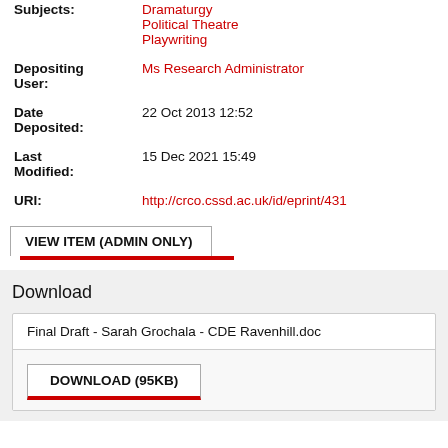| Subjects: | Dramaturgy
Political Theatre
Playwriting |
| Depositing User: | Ms Research Administrator |
| Date Deposited: | 22 Oct 2013 12:52 |
| Last Modified: | 15 Dec 2021 15:49 |
| URI: | http://crco.cssd.ac.uk/id/eprint/431 |
VIEW ITEM (ADMIN ONLY)
Download
Final Draft - Sarah Grochala - CDE Ravenhill.doc
DOWNLOAD (95KB)